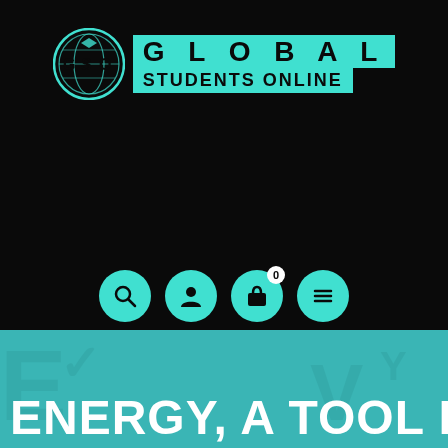[Figure (logo): Global Students Online logo with GSO globe icon and teal text banner showing GLOBAL STUDENTS ONLINE]
[Figure (infographic): Four teal circular navigation icon buttons: search, user/person, shopping bag with badge 0, and hamburger menu]
ENERGY, A TOOL FOR